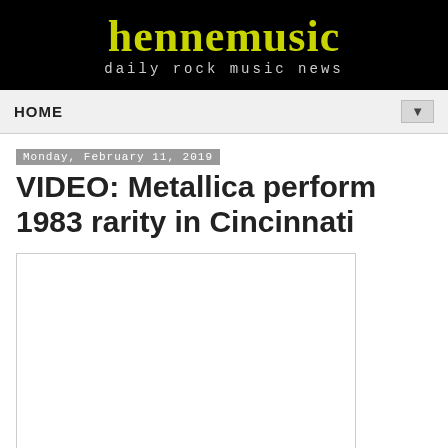hennemusic — daily rock music news
HOME
Monday, February 11, 2019
VIDEO: Metallica perform 1983 rarity in Cincinnati
[Figure (other): Embedded video player placeholder (white rectangle with border)]